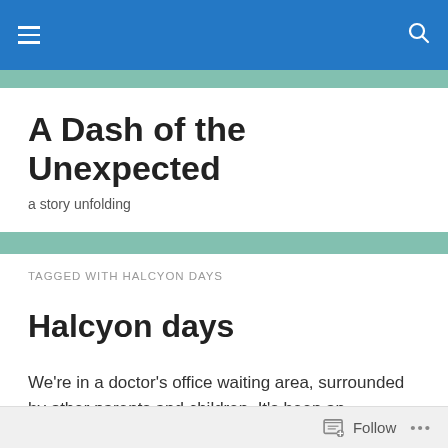Navigation bar with hamburger menu and search icon
A Dash of the Unexpected
a story unfolding
TAGGED WITH HALCYON DAYS
Halcyon days
We're in a doctor's office waiting area, surrounded by other parents and children. It's been an exhausting morning getting out the door and to the appointment on time, but we're here, and it's a moment of
Follow ...